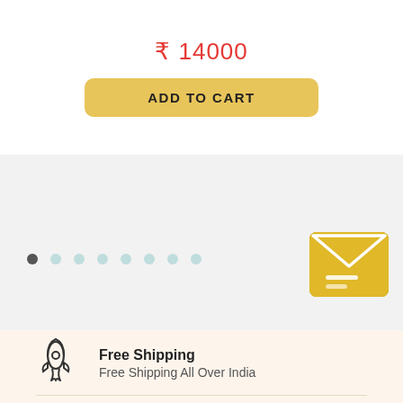₹ 14000
ADD TO CART
[Figure (infographic): Pagination dots row: one dark filled circle followed by seven light teal circles]
[Figure (illustration): Golden/yellow envelope icon with white chevron and two white lines]
[Figure (illustration): Rocket ship outline icon (black line art)]
Free Shipping
Free Shipping All Over India
[Figure (illustration): Money bag with dollar sign outline icon (black line art)]
Money Guarantee
7 Days Replacement Guarantee